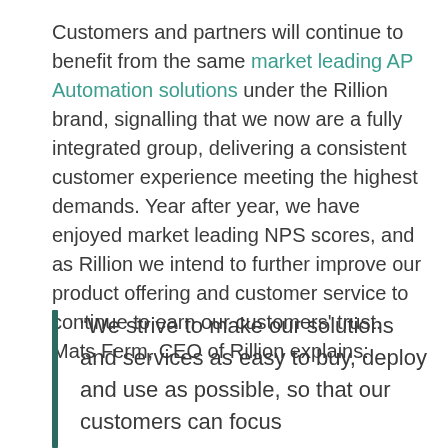Customers and partners will continue to benefit from the same market leading AP Automation solutions under the Rillion brand, signalling that we now are a fully integrated group, delivering a consistent customer experience meeting the highest demands. Year after year, we have enjoyed market leading NPS scores, and as Rillion we intend to further improve our product offering and customer service to continue to earn our customers' trust. Mats Ferm, CEO of Rillion explains:
“We strive to make our solutions and services as easy to buy, deploy and use as possible, so that our customers can focus